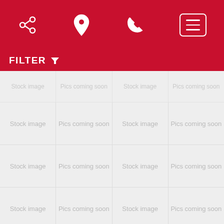Navigation header with share, location, phone, and menu icons
FILTER
[Figure (screenshot): Grid of placeholder car listing images showing 'Stock image' and 'Pics coming soon' text in gray, arranged in a 4-column grid]
2007 Chevrolet Avalanche 4WD Crew Cab 130" LTZ 167,820 miles
CALL FOR PRICE! (407) 277-9500
[Figure (photo): Photo of a car (appears to be a sedan) at a dealership lot, showing the front windshield and hood area with a yellow number '13' sticker]